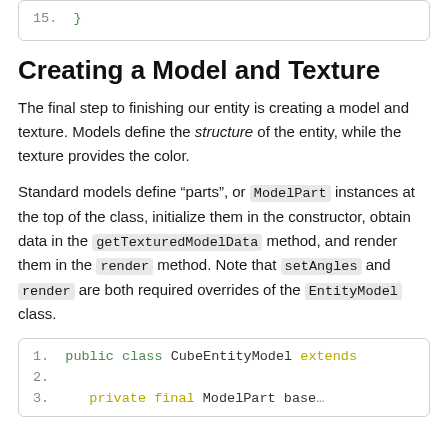[Figure (screenshot): Code block showing line 15 with a closing brace in green]
Creating a Model and Texture
The final step to finishing our entity is creating a model and texture. Models define the structure of the entity, while the texture provides the color.
Standard models define “parts”, or ModelPart instances at the top of the class, initialize them in the constructor, obtain data in the getTexturedModelData method, and render them in the render method. Note that setAngles and render are both required overrides of the EntityModel class.
[Figure (screenshot): Code block showing lines 1-3: public class CubeEntityModel extends ... line 2 blank, line 3 private final ModelPart base...]